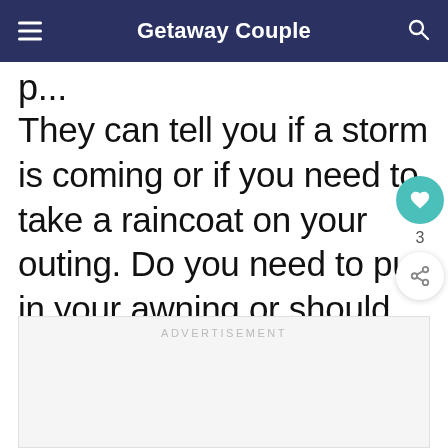Getaway Couple
They can tell you if a storm is coming or if you need to take a raincoat on your outing. Do you need to put in your awning or should you get ready for lots of sun?
ADVERTISEMENT